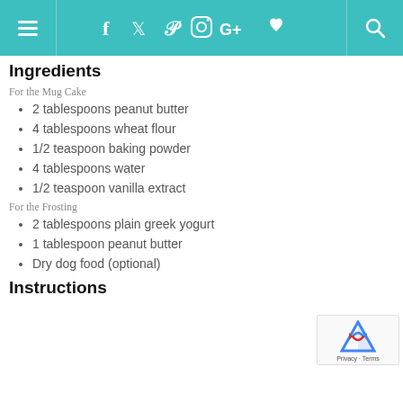[Figure (screenshot): Website navigation bar with teal background, hamburger menu icon on left, social media icons (Facebook, Twitter, Pinterest, Instagram, Google+, heart) in center, search icon on right]
Ingredients
For the Mug Cake
2 tablespoons peanut butter
4 tablespoons wheat flour
1/2 teaspoon baking powder
4 tablespoons water
1/2 teaspoon vanilla extract
For the Frosting
2 tablespoons plain greek yogurt
1 tablespoon peanut butter
Dry dog food (optional)
Instructions